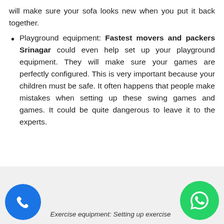will make sure your sofa looks new when you put it back together.
Playground equipment: Fastest movers and packers Srinagar could even help set up your playground equipment. They will make sure your games are perfectly configured. This is very important because your children must be safe. It often happens that people make mistakes when setting up these swing games and games. It could be quite dangerous to leave it to the experts.
[Figure (illustration): Blue circular phone call button icon on the left and green WhatsApp button icon on the right in a light grey footer bar]
Exercise equipment: Setting up exercise